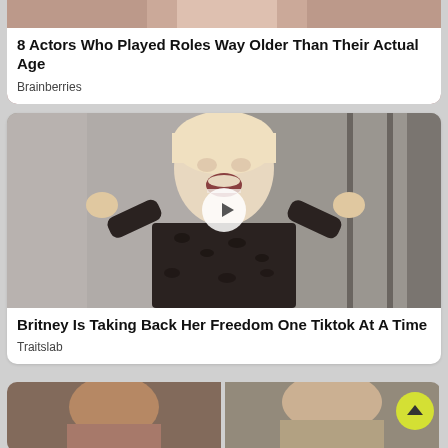[Figure (photo): Partial top of first card showing a person with reddish/brown hair, cropped at top]
8 Actors Who Played Roles Way Older Than Their Actual Age
Brainberries
[Figure (photo): Blonde woman in black leopard print outfit with arms raised, video play button overlay in center]
Britney Is Taking Back Her Freedom One Tiktok At A Time
Traitslab
[Figure (photo): Bottom partial card showing two side-by-side images of women, partially visible]